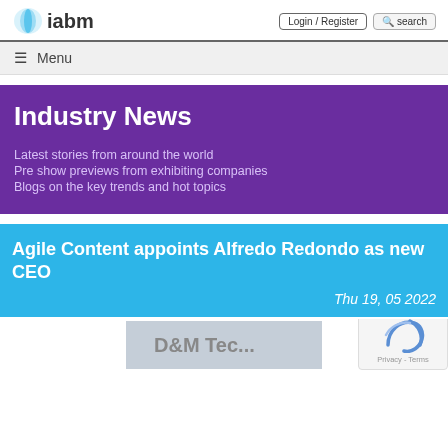iabm | Login / Register | search
≡ Menu
Industry News
Latest stories from around the world
Pre show previews from exhibiting companies
Blogs on the key trends and hot topics
Agile Content appoints Alfredo Redondo as new CEO
Thu 19, 05 2022
[Figure (screenshot): Partial image of a company logo/banner at the bottom of the article]